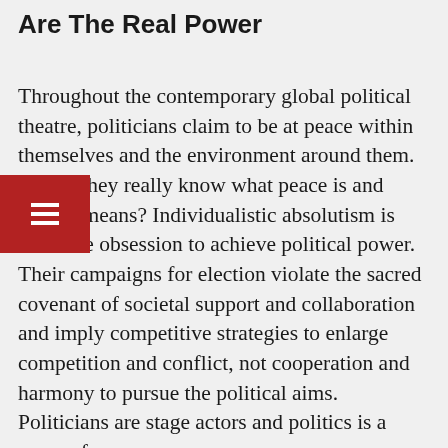Are The Real Power
Throughout the contemporary global political theatre, politicians claim to be at peace within themselves and the environment around them. But do they really know what peace is and what it means? Individualistic absolutism is often the obsession to achieve political power. Their campaigns for election violate the sacred covenant of societal support and collaboration and imply competitive strategies to enlarge competition and conflict, not cooperation and harmony to pursue the political aims. Politicians are stage actors and politics is a game of